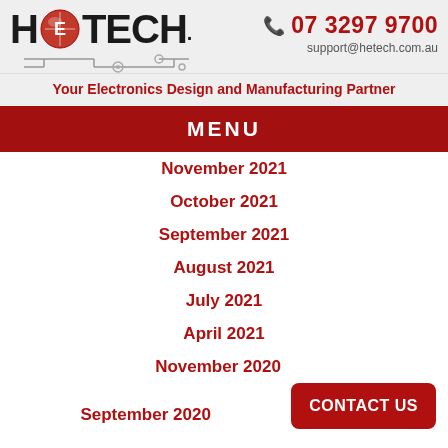[Figure (logo): HE TECH logo with circuit board graphic design, red globe/circuit element between HE and TECH text]
07 3297 9700
support@hetech.com.au
Your Electronics Design and Manufacturing Partner
MENU
November 2021
October 2021
September 2021
August 2021
July 2021
April 2021
November 2020
September 2020
CONTACT US